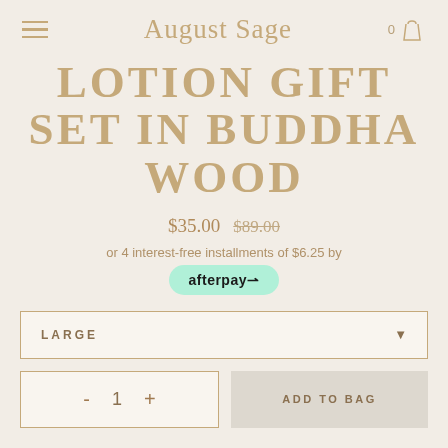August Sage
LOTION GIFT SET IN BUDDHA WOOD
$35.00 $89.00
or 4 interest-free installments of $6.25 by afterpay
LARGE
- 1 +
ADD TO BAG